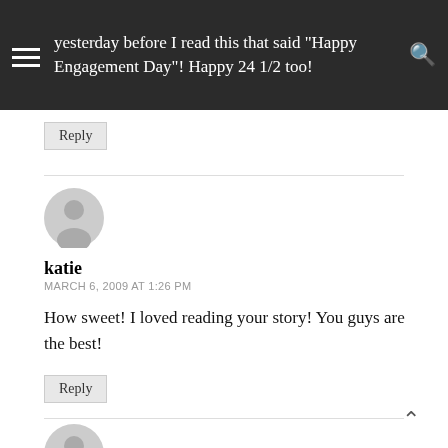yesterday before I read this that said "Happy Engagement Day"! Happy 24 1/2 too!
Reply
[Figure (illustration): Generic user avatar icon for comment section]
katie
MARCH 6, 2009 AT 1:26 PM
How sweet! I loved reading your story! You guys are the best!
Reply
[Figure (illustration): Generic user avatar icon for next comment section]